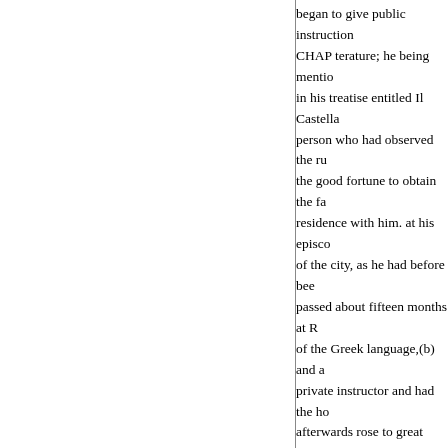began to give public instructions in li- CHAP terature; he being mentioned by Trissino in his treatise entitled Il Castellano, as a person who had observed the rules, and had the good fortune to obtain the favour and residence with him. at his episcopal palace of the city, as he had before been, and passed about fifteen months at Rome, in the study of the Greek language,(b) and afterwards as a private instructor and had the honour of teaching one who afterwards rose to great eminence, and was considered the most elegant preceptor of his time.(c)
(a) "Le prime regale de la lingua." Au"relia da Rimini." Trissin. Il C
(b) Mazzuchelli, Scrittori d
fc) "Il più dotto e candido e